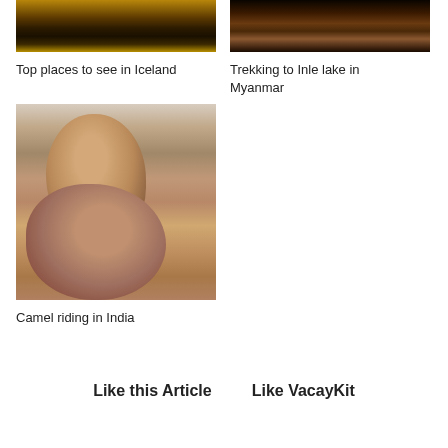[Figure (photo): Photo of a building with warm golden lights, likely in Iceland]
Top places to see in Iceland
[Figure (photo): Photo of an ornate building at night, related to Inle lake Myanmar trekking]
Trekking to Inle lake in Myanmar
[Figure (photo): Photo of a man and woman smiling together outdoors, camel riding in India]
Camel riding in India
Like this Article
Like VacayKit